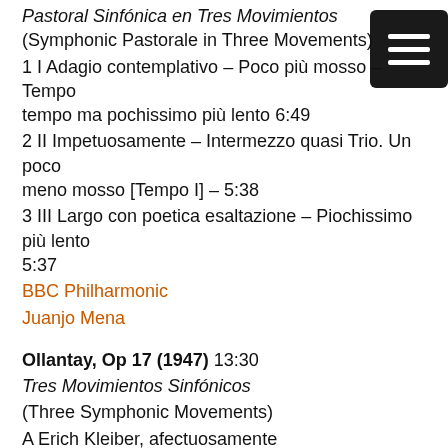Pastoral Sinfónica en Tres Movimientos (Symphonic Pastorale in Three Movements)
1 I Adagio contemplativo – Poco più mosso – Tempo – tempo ma pochissimo più lento 6:49
2 II Impetuosamente – Intermezzo quasi Trio. Un poco meno mosso [Tempo I] – 5:38
3 III Largo con poetica esaltazione – Piochissimo più lento 5:37
BBC Philharmonic
Juanjo Mena
Ollantay, Op 17 (1947) 13:30
Tres Movimientos Sinfónicos
(Three Symphonic Movements)
A Erich Kleiber, afectuosamente
4 Paisaje de Ollantaytambo (The Landscape of Ollantaytambo). Lento 4:25
5 Los guerreros (The Warriors). Allegro – Poco più mosso – Tempo I – Presto e agitato 3:02
6 La muerte de Ollantay (The Death of Ollantay) Andante –